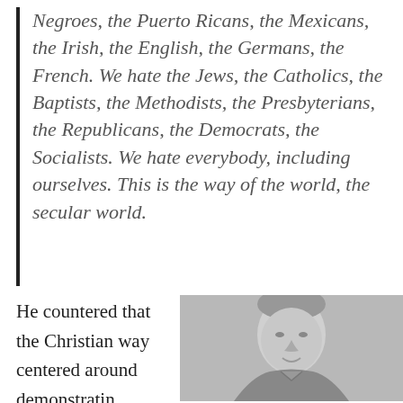Negroes, the Puerto Ricans, the Mexicans, the Irish, the English, the Germans, the French. We hate the Jews, the Catholics, the Baptists, the Methodists, the Presbyterians, the Republicans, the Democrats, the Socialists. We hate everybody, including ourselves. This is the way of the world, the secular world.
He countered that the Christian way centered around demonstratin
[Figure (photo): Black and white portrait photograph of an older man with light hair, smiling slightly, wearing what appears to be a suit.]